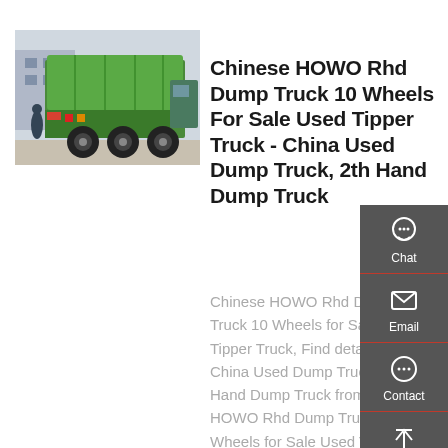[Figure (photo): Rear view of a green HOWO dump truck/tipper truck parked outdoors]
Chinese HOWO Rhd Dump Truck 10 Wheels For Sale Used Tipper Truck - China Used Dump Truck, 2th Hand Dump Truck
Chinese HOWO Rhd Dump Truck 10 Wheels for Sale Used Tipper Truck, Find details about China Used Dump Truck, 2th Hand Dump Truck from Chinese HOWO Rhd Dump Truck 10 Wheels for Sale Used Tipper